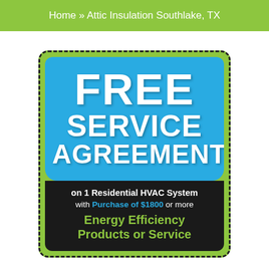Home » Attic Insulation Southlake, TX
[Figure (infographic): Coupon graphic with dashed green border on green background. Top section is blue with large white bold text reading FREE SERVICE AGREEMENT. Bottom section is black with white text reading on 1 Residential HVAC System, with Purchase of $1800 or more in blue, and green text reading Energy Efficiency Products or Service.]